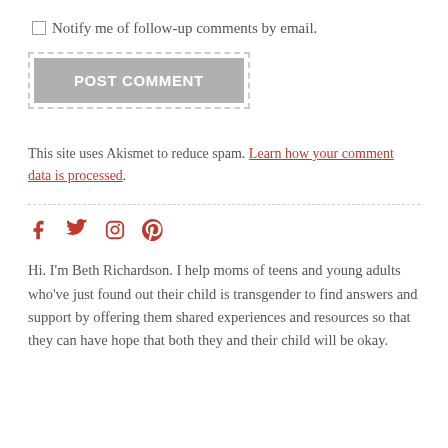Notify me of follow-up comments by email.
POST COMMENT
This site uses Akismet to reduce spam. Learn how your comment data is processed.
[Figure (other): Social media icons: Facebook, Twitter, Instagram, Pinterest in red]
Hi. I'm Beth Richardson. I help moms of teens and young adults who've just found out their child is transgender to find answers and support by offering them shared experiences and resources so that they can have hope that both they and their child will be okay.